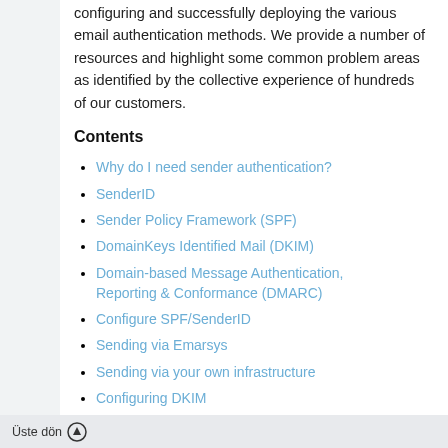configuring and successfully deploying the various email authentication methods. We provide a number of resources and highlight some common problem areas as identified by the collective experience of hundreds of our customers.
Contents
Why do I need sender authentication?
SenderID
Sender Policy Framework (SPF)
DomainKeys Identified Mail (DKIM)
Domain-based Message Authentication, Reporting & Conformance (DMARC)
Configure SPF/SenderID
Sending via Emarsys
Sending via your own infrastructure
Configuring DKIM
Üste dön ↑